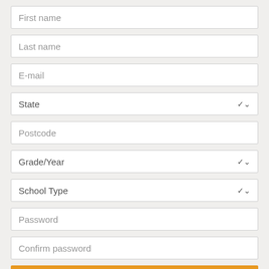First name
Last name
E-mail
State
Postcode
Grade/Year
School Type
Password
Confirm password
REGISTER